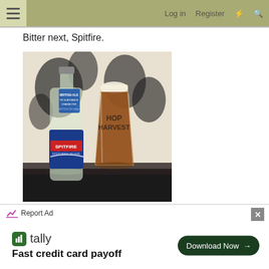☰  Log in  Register  ⚡  🔍
Bitter next, Spitfire.
[Figure (photo): A bottle of Shepherd Neame Spitfire amber ale next to a pint glass filled with amber beer, on a dark surface with a floral black and white background.]
Report Ad
[Figure (screenshot): Tally advertisement: Fast credit card payoff, with Download Now button]